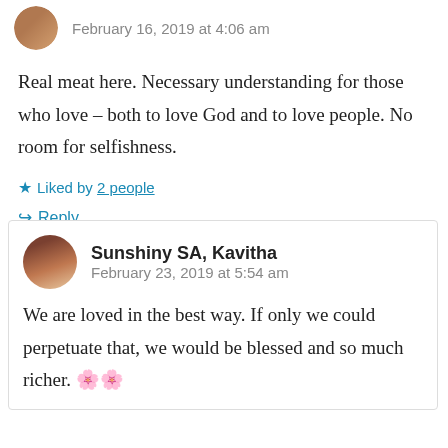February 16, 2019 at 4:06 am
Real meat here. Necessary understanding for those who love – both to love God and to love people. No room for selfishness.
Liked by 2 people
Reply
Sunshiny SA, Kavitha
February 23, 2019 at 5:54 am
We are loved in the best way. If only we could perpetuate that, we would be blessed and so much richer. 🌸🌸